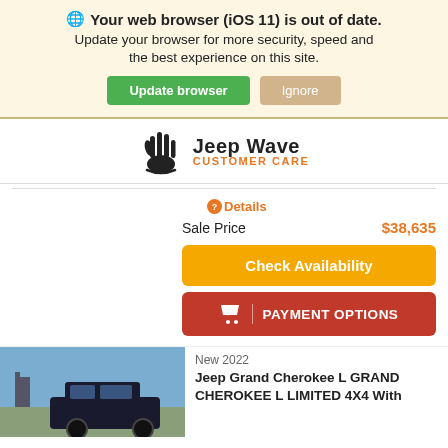Your web browser (iOS 11) is out of date. Update your browser for more security, speed and the best experience on this site.
Update browser | Ignore
[Figure (logo): Jeep Wave Customer Care logo with hand wave icon and text]
Details
Sale Price  $38,635
Check Availability
PAYMENT OPTIONS
New 2022
Jeep Grand Cherokee L GRAND CHEROKEE L LIMITED 4X4 With
[Figure (photo): Photo of a dark-colored Jeep Grand Cherokee L parked outdoors with blue sky in background]